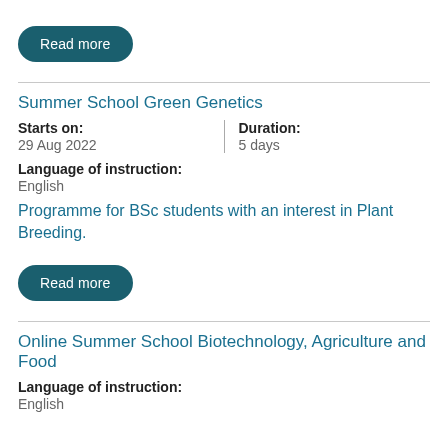[Figure (other): Read more button (teal rounded rectangle)]
Summer School Green Genetics
Starts on: 29 Aug 2022 | Duration: 5 days
Language of instruction: English
Programme for BSc students with an interest in Plant Breeding.
[Figure (other): Read more button (teal rounded rectangle)]
Online Summer School Biotechnology, Agriculture and Food
Language of instruction: English